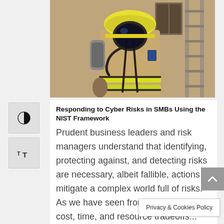[Figure (photo): Firefighter in full gear including breathing apparatus, reflective yellow stripes on jacket, standing near a ladder against a building wall]
Responding to Cyber Risks in SMBs Using the NIST Framework
Prudent business leaders and risk managers understand that identifying, protecting against, and detecting risks are necessary, albeit fallible, actions to mitigate a complex world full of risks. As we have seen from prior posts, cost, time, and resource tradeoffs...
read more
Privacy & Cookies Policy